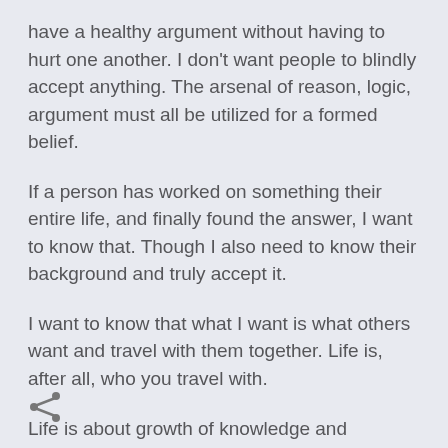have a healthy argument without having to hurt one another. I don't want people to blindly accept anything. The arsenal of reason, logic, argument must all be utilized for a formed belief.
If a person has worked on something their entire life, and finally found the answer, I want to know that. Though I also need to know their background and truly accept it.
I want to know that what I want is what others want and travel with them together. Life is, after all, who you travel with.
Life is about growth of knowledge and experiences. Some things are good to be learned and some things are good to be experienced. I want to excel in both.
[Figure (illustration): Share icon (less-than sign style arrow pointing left with two dots)]